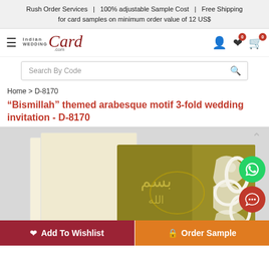Rush Order Services  |  100% adjustable Sample Cost  |  Free Shipping for card samples on minimum order value of 12 US$
[Figure (logo): IndianWeddingCard.com logo with hamburger menu, user icon, wishlist icon with badge 0, cart icon with badge 0]
[Figure (screenshot): Search By Code search input field with magnifying glass icon]
Home > D-8170
“Bismillah” themed arabesque motif 3-fold wedding invitation - D-8170
[Figure (photo): Product photo of a gold/olive colored 3-fold wedding invitation card with arabesque motif and Bismillah calligraphy, showing three panels: cream inner pages and gold outer cover with white arabesque cutout design. IndianWeddingCard.com watermark visible.]
Add To Wishlist    Order Sample